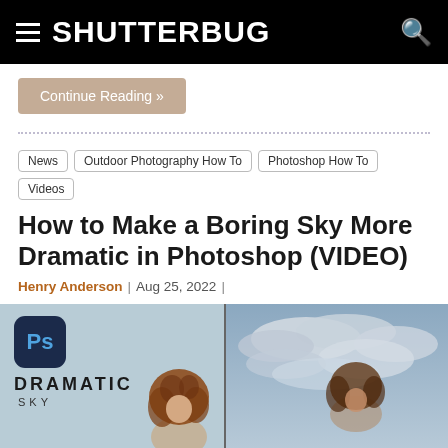SHUTTERBUG
Continue Reading »
News
Outdoor Photography How To
Photoshop How To
Videos
How to Make a Boring Sky More Dramatic in Photoshop (VIDEO)
Henry Anderson  |  Aug 25, 2022  |
[Figure (photo): Split image showing Photoshop tutorial for dramatic sky effect. Left side shows Ps logo with text DRAMATIC SKY and a woman with curly red hair. Right side shows the woman against a dramatic cloudy sky.]